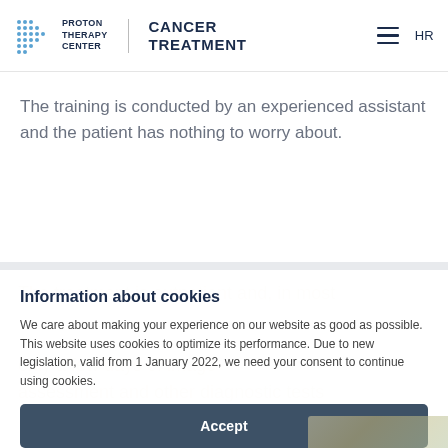Proton Therapy Center | Cancer Treatment — HR
The training is conducted by an experienced assistant and the patient has nothing to worry about.
Information about cookies
We care about making your experience on our website as good as possible. This website uses cookies to optimize its performance. Due to new legislation, valid from 1 January 2022, we need your consent to continue using cookies.
Accept
Settings